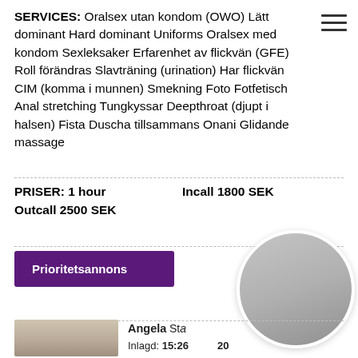SERVICES: Oralsex utan kondom (OWO) Lätt dominant Hard dominant Uniforms Oralsex med kondom Sexleksaker Erfarenhet av flickvän (GFE) Roll förändras Slavträning (urination) Har flickvän CIM (komma i munnen) Smekning Foto Fotfetisch Anal stretching Tungkyssar Deepthroat (djupt i halsen) Fista Duscha tillsammans Onani Glidande massage
PRISER: 1 hour Incall 1800 SEK Outcall 2500 SEK
Prioritetsannons
[Figure (photo): Circular profile avatar photo of a woman with dark hair]
[Figure (photo): Listing thumbnail photo of a blonde woman in red]
Angela Sta...
Inlagd: 15:26 ...20
Profil: 46544020553